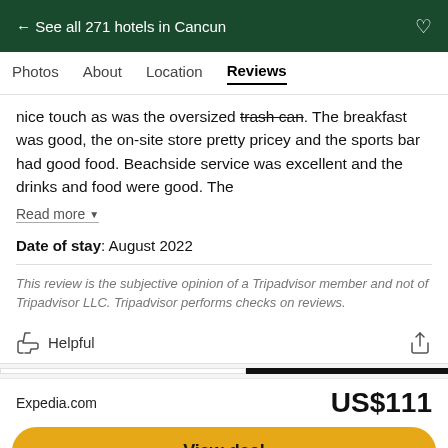← See all 271 hotels in Cancun
Photos   About   Location   Reviews
nice touch as was the oversized trash can. The breakfast was good, the on-site store pretty pricey and the sports bar had good food. Beachside service was excellent and the drinks and food were good. The
Read more ▼
Date of stay: August 2022
This review is the subjective opinion of a Tripadvisor member and not of Tripadvisor LLC. Tripadvisor performs checks on reviews.
Helpful
Expedia.com   US$111
View deal